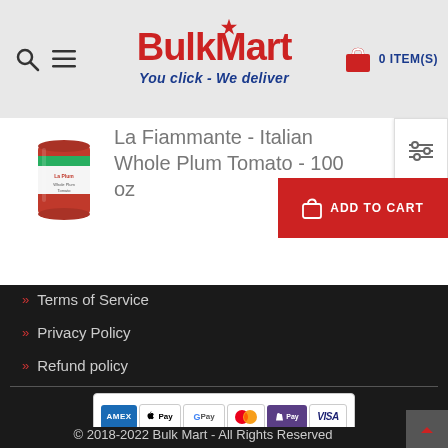BulkMart - You click - We deliver | 0 ITEM(S)
La Fiammante - Italian Whole Plum Tomato - 100 oz
[Figure (photo): Tin can of La Fiammante Italian Whole Plum Tomato product]
ADD TO CART
Terms of Service
Privacy Policy
Refund policy
[Figure (other): Payment method icons: AMEX, Apple Pay, Google Pay, Mastercard, Shopify Pay, VISA]
© 2018-2022 Bulk Mart - All Rights Reserved